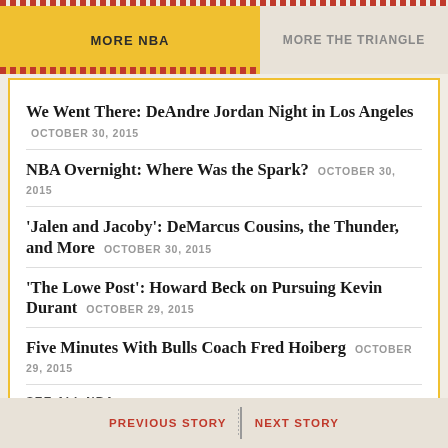MORE NBA | MORE THE TRIANGLE
We Went There: DeAndre Jordan Night in Los Angeles OCTOBER 30, 2015
NBA Overnight: Where Was the Spark? OCTOBER 30, 2015
'Jalen and Jacoby': DeMarcus Cousins, the Thunder, and More OCTOBER 30, 2015
'The Lowe Post': Howard Beck on Pursuing Kevin Durant OCTOBER 29, 2015
Five Minutes With Bulls Coach Fred Hoiberg OCTOBER 29, 2015
SEE ALL NBA
PREVIOUS STORY | NEXT STORY